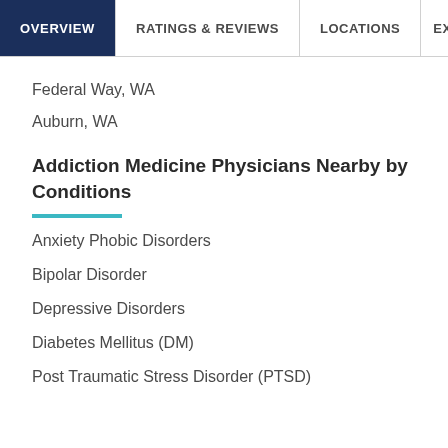OVERVIEW | RATINGS & REVIEWS | LOCATIONS | EX
Federal Way, WA
Auburn, WA
Addiction Medicine Physicians Nearby by Conditions
Anxiety Phobic Disorders
Bipolar Disorder
Depressive Disorders
Diabetes Mellitus (DM)
Post Traumatic Stress Disorder (PTSD)